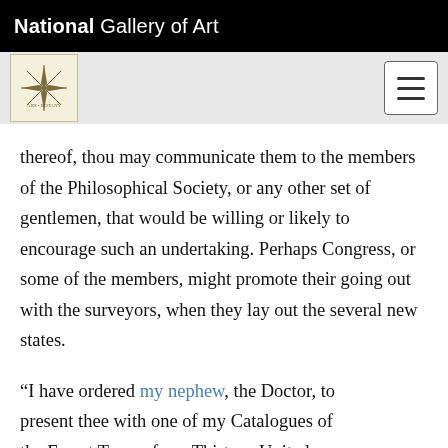National Gallery of Art
[Figure (logo): Decorative compass/star logo icon for NGA exhibition]
[Figure (other): Hamburger menu button (three horizontal bars)]
thereof, thou may communicate them to the members of the Philosophical Society, or any other set of gentlemen, that would be willing or likely to encourage such an undertaking. Perhaps Congress, or some of the members, might promote their going out with the surveyors, when they lay out the several new states.
“I have ordered my nephew, the Doctor, to present thee with one of my Catalogues of the Forest Trees of our Thirteen United States; which I hope thou wilt accept of, for thy perusal.”
[Figure (other): Green circular scroll-to-top button with upward arrow]